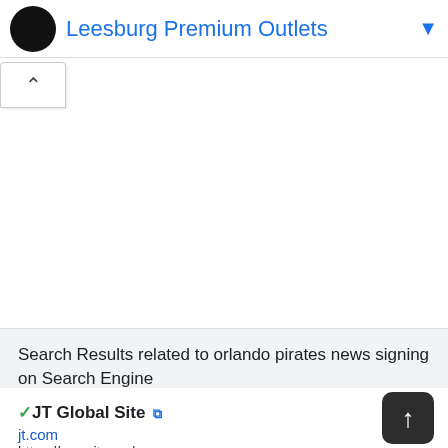[Figure (screenshot): Ad banner for Leesburg Premium Outlets with circular black logo on the left and blue title text, with a right-facing blue arrow on the right side]
[Figure (screenshot): Collapse/expand button with an upward caret (^) symbol]
Search Results related to orlando pirates news signing on Search Engine
✔JT Global Site 🔗
jt.com
https://www.jt.com/